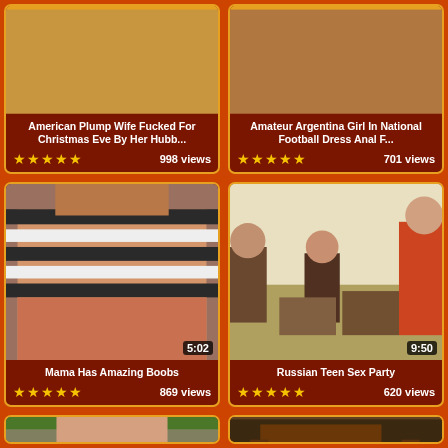[Figure (screenshot): Video thumbnail - top cropped image]
American Plump Wife Fucked For Christmas Eve By Her Hubb...
★★★★★  998 views
[Figure (screenshot): Video thumbnail - top cropped image]
Amateur Argentina Girl In National Football Dress Anal F...
★★★★★  701 views
[Figure (screenshot): Video thumbnail - woman in striped top, duration 5:02]
Mama Has Amazing Boobs
★★★★★  869 views
[Figure (screenshot): Video thumbnail - group of people sitting, duration 9:50]
Russian Teen Sex Party
★★★★★  620 views
[Figure (screenshot): Video thumbnail - bottom row left, partially visible]
[Figure (screenshot): Video thumbnail - bottom row right, partially visible]